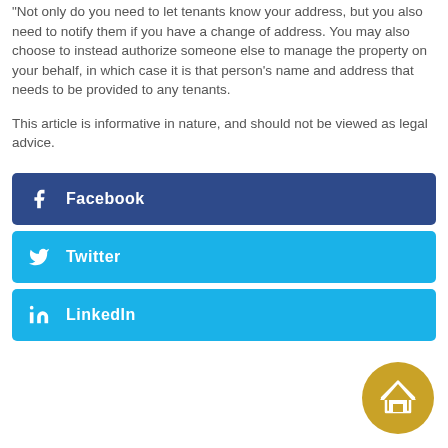Not only do you need to let tenants know your address, but you also need to notify them if you have a change of address. You may also choose to instead authorize someone else to manage the property on your behalf, in which case it is that person's name and address that needs to be provided to any tenants.
This article is informative in nature, and should not be viewed as legal advice.
[Figure (other): Facebook social share button — dark blue rounded rectangle with 'f' icon and 'Facebook' label in white]
[Figure (other): Twitter social share button — light blue rounded rectangle with bird icon and 'Twitter' label in white]
[Figure (other): LinkedIn social share button — light blue rounded rectangle with 'in' icon and 'LinkedIn' label in white]
[Figure (logo): Gold circular home/real-estate badge icon in bottom right corner]